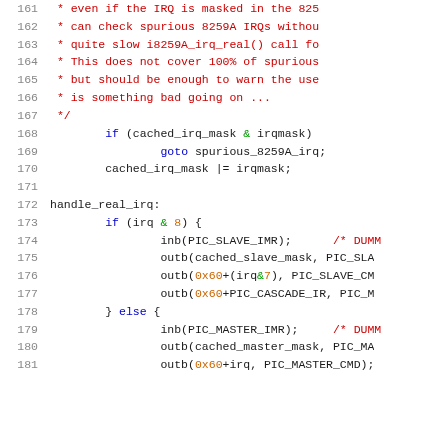Source code listing, lines 161-181, C code for IRQ handling with comments and control flow
[Figure (screenshot): Code editor showing C source lines 161-181 with syntax highlighting: red for comments, blue for keywords, green for & operator, orange for hex literals]